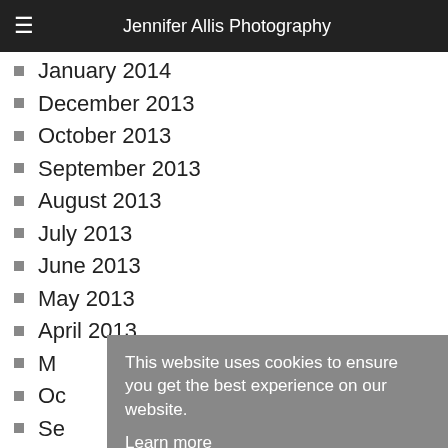Jennifer Allis Photography
January 2014
December 2013
October 2013
September 2013
August 2013
July 2013
June 2013
May 2013
April 2013
M[arch 2013]
O[ctober 2012]
Se[ptember 2012]
Au[gust 2012]
Ju[ly 2012]
Ju[ne 2012]
M[ay 2012]
February 2012
This website uses cookies to ensure you get the best experience on our website. Learn more Got it!